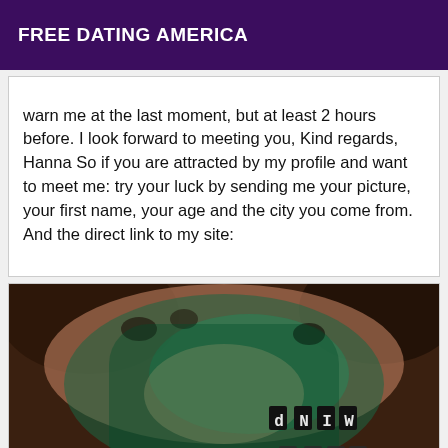FREE DATING AMERICA
warn me at the last moment, but at least 2 hours before. I look forward to meeting you, Kind regards, Hanna So if you are attracted by my profile and want to meet me: try your luck by sending me your picture, your first name, your age and the city you come from. And the direct link to my site:
[Figure (photo): A close-up photo of a person's torso under green/teal lighting with text markings visible on the skin.]